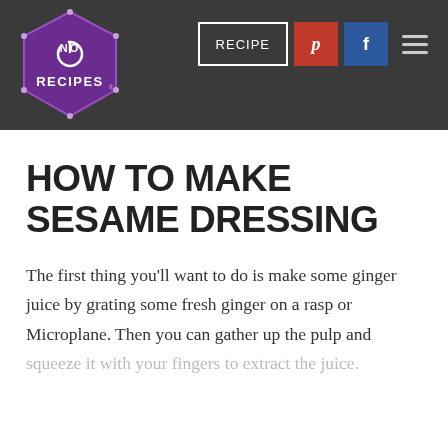No Recipes — RECIPE | Pinterest | Facebook | Menu
HOW TO MAKE SESAME DRESSING
The first thing you'll want to do is make some ginger juice by grating some fresh ginger on a rasp or Microplane. Then you can gather up the pulp and squeeze it with your fingers to extract the juice.